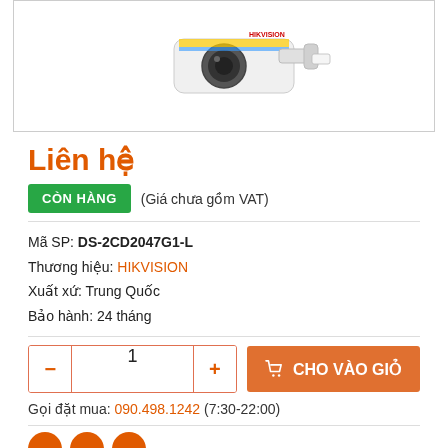[Figure (photo): Hikvision bullet IP camera product photo on white background]
Liên hệ
CÒN HÀNG (Giá chưa gồm VAT)
Mã SP: DS-2CD2047G1-L
Thương hiệu: HIKVISION
Xuất xứ: Trung Quốc
Bảo hành: 24 tháng
1 CHO VÀO GIỎ
Gọi đặt mua: 090.498.1242 (7:30-22:00)